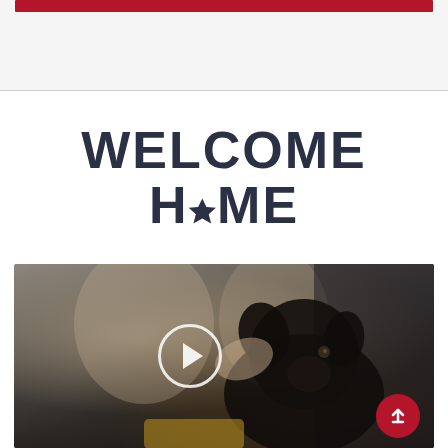[Figure (other): Top section with red bar header strip and light gray background area]
WELCOME HOME
[Figure (photo): Photo of people with a black dog (appears to be a puppy or young dog), with a play button overlay indicating a video. A red scroll-to-top button is visible in the bottom right corner.]